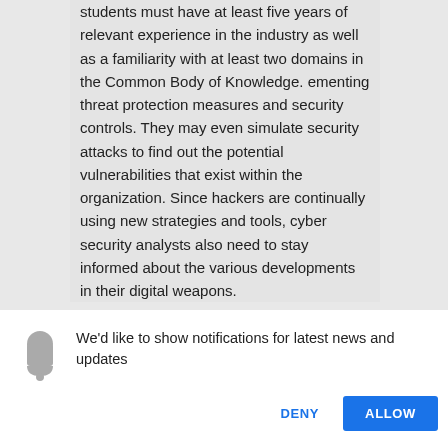students must have at least five years of relevant experience in the industry as well as a familiarity with at least two domains in the Common Body of Knowledge. ementing threat protection measures and security controls. They may even simulate security attacks to find out the potential vulnerabilities that exist within the organization. Since hackers are continually using new strategies and tools, cyber security analysts also need to stay informed about the various developments in their digital weapons.
We'd like to show notifications for latest news and updates